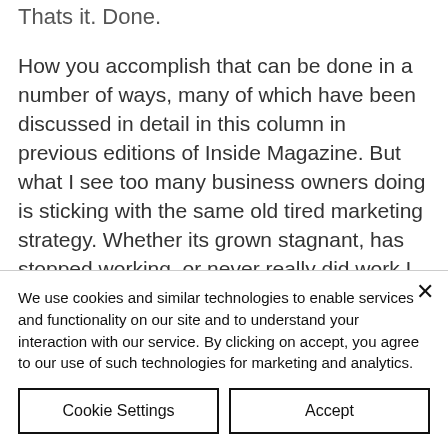Thats it. Done.
How you accomplish that can be done in a number of ways, many of which have been discussed in detail in this column in previous editions of Inside Magazine. But what I see too many business owners doing is sticking with the same old tired marketing strategy. Whether its grown stagnant, has stopped working, or never really did work I urge you to
We use cookies and similar technologies to enable services and functionality on our site and to understand your interaction with our service. By clicking on accept, you agree to our use of such technologies for marketing and analytics.
Cookie Settings
Accept